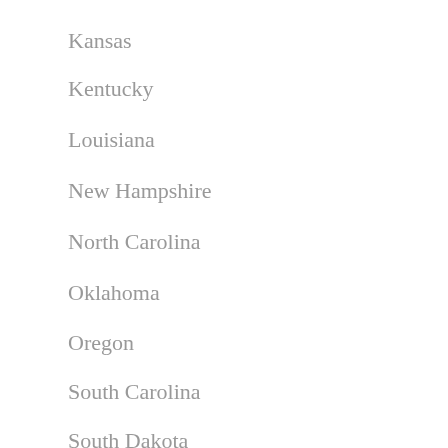Kansas
Kentucky
Louisiana
New Hampshire
North Carolina
Oklahoma
Oregon
South Carolina
South Dakota